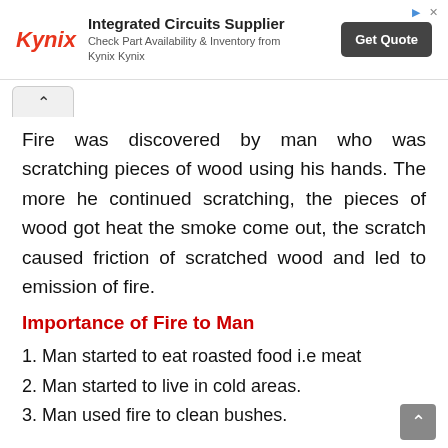[Figure (other): Advertisement banner for Kynix Integrated Circuits Supplier with logo, text, and Get Quote button]
Fire was discovered by man who was scratching pieces of wood using his hands. The more he continued scratching, the pieces of wood got heat the smoke come out, the scratch caused friction of scratched wood and led to emission of fire.
Importance of Fire to Man
1. Man started to eat roasted food i.e meat
2. Man started to live in cold areas.
3. Man used fire to clean bushes.